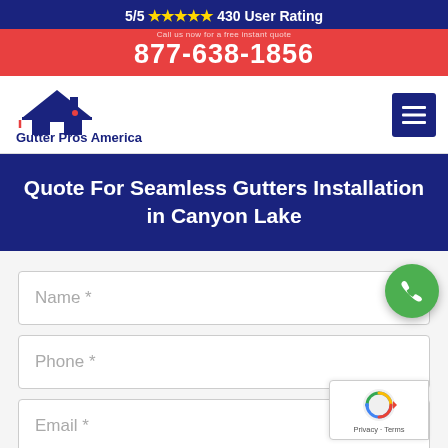5/5 ★★★★★ 430 User Rating
877-638-1856
[Figure (logo): Gutter Pros America logo with house/roof icon and text]
Quote For Seamless Gutters Installation in Canyon Lake
Name *
Phone *
Email *